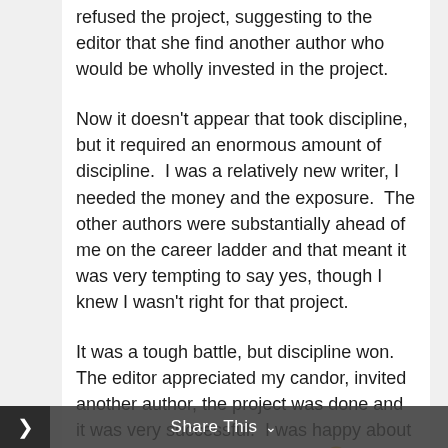refused the project, suggesting to the editor that she find another author who would be wholly invested in the project.
Now it doesn't appear that took discipline, but it required an enormous amount of discipline.  I was a relatively new writer, I needed the money and the exposure.  The other authors were substantially ahead of me on the career ladder and that meant it was very tempting to say yes, though I knew I wasn't right for that project.
It was a tough battle, but discipline won.  The editor appreciated my candor, invited another author, the project was done and it was very successful.  I was happy about that, which took discipline, too. 🙂  The point is, I was wrong for that project and though I could have done it and the temptation was great to do it, with every word I would have written I would have known I was
Share This